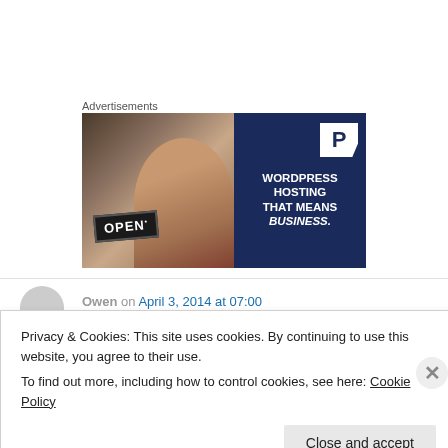Advertisements
[Figure (photo): WordPress hosting advertisement showing a woman holding an Open sign on the left (photo) and dark blue panel on the right with a P logo and text: WORDPRESS HOSTING THAT MEANS BUSINESS.]
Owen on April 3, 2014 at 07:00
Privacy & Cookies: This site uses cookies. By continuing to use this website, you agree to their use.
To find out more, including how to control cookies, see here: Cookie Policy
Close and accept